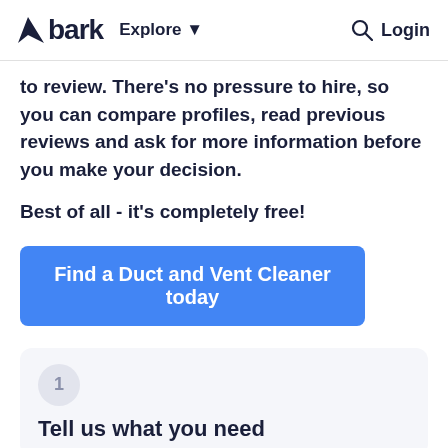bark  Explore  Login
to review. There's no pressure to hire, so you can compare profiles, read previous reviews and ask for more information before you make your decision.
Best of all - it's completely free!
Find a Duct and Vent Cleaner today
1
Tell us what you need